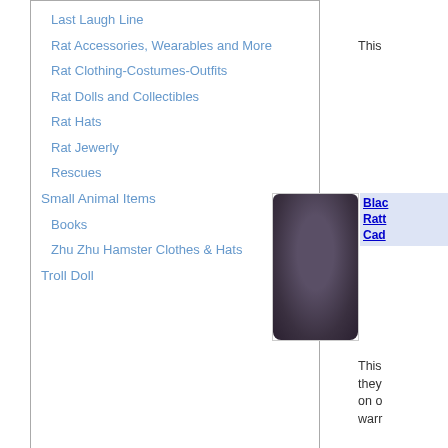Last Laugh Line
Rat Accessories, Wearables and More
Rat Clothing-Costumes-Outfits
Rat Dolls and Collectibles
Rat Hats
Rat Jewerly
Rescues
Small Animal Items
Books
Zhu Zhu Hamster Clothes & Hats
Troll Doll
This
[Figure (photo): Dark grey/purple fabric diaper cover for rats]
Blac Ratt Cad
This they on o warr
This
[Figure (photo): Blue penguin print polar fleece rat clothing item]
Blue Prin Pola Ratt size
This they on o warr